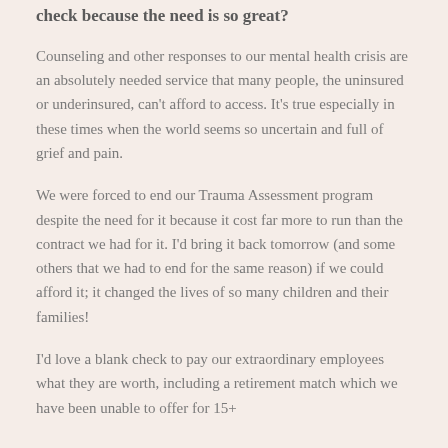check because the need is so great?
Counseling and other responses to our mental health crisis are an absolutely needed service that many people, the uninsured or underinsured, can't afford to access. It's true especially in these times when the world seems so uncertain and full of grief and pain.
We were forced to end our Trauma Assessment program despite the need for it because it cost far more to run than the contract we had for it. I'd bring it back tomorrow (and some others that we had to end for the same reason) if we could afford it; it changed the lives of so many children and their families!
I'd love a blank check to pay our extraordinary employees what they are worth, including a retirement match which we have been unable to offer for 15+